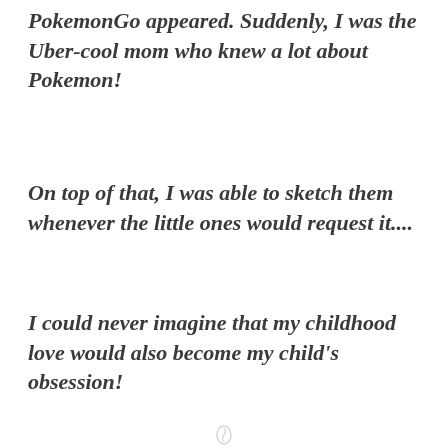PokemonGo appeared. Suddenly, I was the Uber-cool mom who knew a lot about Pokemon!
On top of that, I was able to sketch them whenever the little ones would request it....
I could never imagine that my childhood love would also become my child's obsession!
Privacy & Cookies: This site uses cookies. By continuing to use this website, you agree to their use. To find out more, including how to control cookies, see here: Cookie Policy
Close and accept